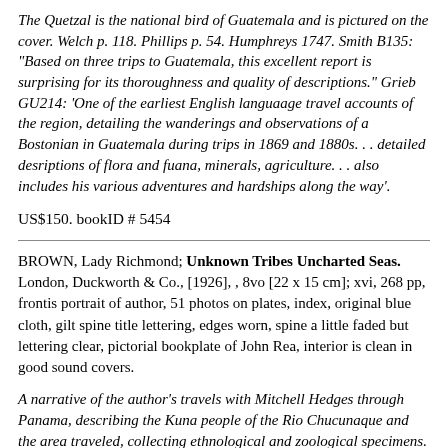The Quetzal is the national bird of Guatemala and is pictured on the cover. Welch p. 118. Phillips p. 54. Humphreys 1747. Smith B135: "Based on three trips to Guatemala, this excellent report is surprising for its thoroughness and quality of descriptions." Grieb GU214: 'One of the earliest English languaage travel accounts of the region, detailing the wanderings and observations of a Bostonian in Guatemala during trips in 1869 and 1880s. . . detailed desriptions of flora and fuana, minerals, agriculture. . . also includes his various adventures and hardships along the way'.
US$150. bookID # 5454
BROWN, Lady Richmond; Unknown Tribes Uncharted Seas. London, Duckworth & Co., [1926], , 8vo [22 x 15 cm]; xvi, 268 pp, frontis portrait of author, 51 photos on plates, index, original blue cloth, gilt spine title lettering, edges worn, spine a little faded but lettering clear, pictorial bookplate of John Rea, interior is clean in good sound covers.
A narrative of the author's travels with Mitchell Hedges through Panama, describing the Kuna people of the Rio Chucunaque and the area traveled, collecting ethnological and zoological specimens. Good photos of the local people and one of shrunken heads. The author was a fellow of the Royal Geographical Society,